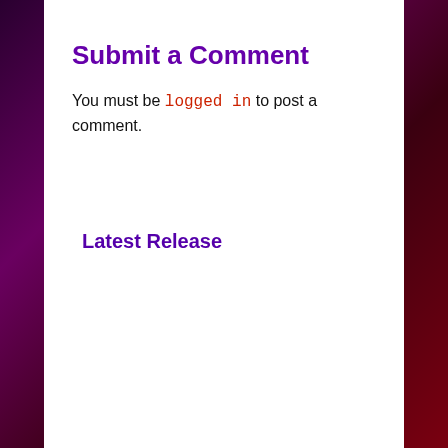Submit a Comment
You must be logged in to post a comment.
Latest Release